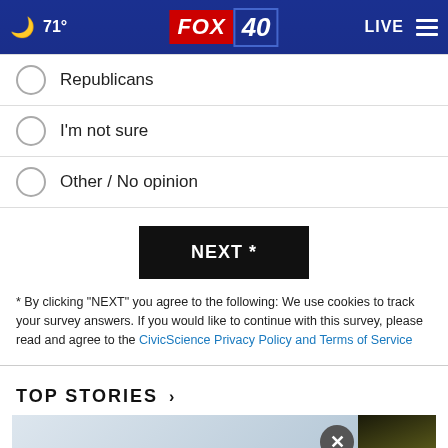71° FOX 40 LIVE
Republicans
I'm not sure
Other / No opinion
NEXT *
* By clicking "NEXT" you agree to the following: We use cookies to track your survey answers. If you would like to continue with this survey, please read and agree to the CivicScience Privacy Policy and Terms of Service
TOP STORIES ›
[Figure (screenshot): News website screenshot showing a story image with a close (X) button and a Verizon advertisement banner at the bottom reading 'Ditch cable and switch to Verizon Home Internet.']